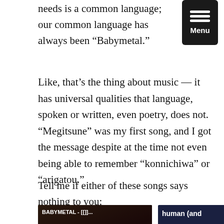needs is a common language; our common language has always been “Babymetal.”
[Figure (screenshot): Dark menu button with three horizontal bars and the word 'Menu' in white text on black background]
Like, that’s the thing about music — it has universal qualities that language, spoken or written, even poetry, does not. “Megitsune” was my first song, and I got the message despite at the time not even being able to remember “konnichiwa” or “arigatou.”
Tell me if either of these songs says nothing to you:
[Figure (screenshot): Video thumbnail showing BABYMETAL music video with Japanese characters, showing group members and a play button overlay]
[Figure (screenshot): CAPTCHA widget on dark navy background showing text 'human (and' with an 'I'm not' checkbox interface]